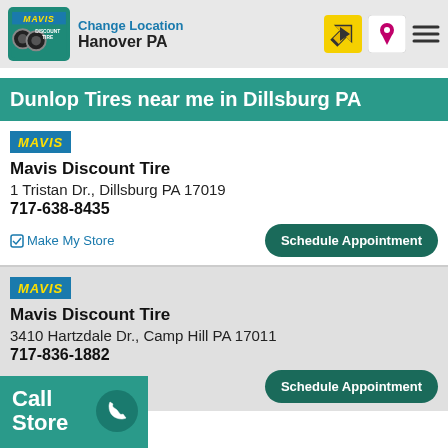Change Location Hanover PA
Dunlop Tires near me in Dillsburg PA
Mavis Discount Tire
1 Tristan Dr., Dillsburg PA 17019
717-638-8435
Make My Store
Mavis Discount Tire
3410 Hartzdale Dr., Camp Hill PA 17011
717-836-1882
Make My Store
Call Store